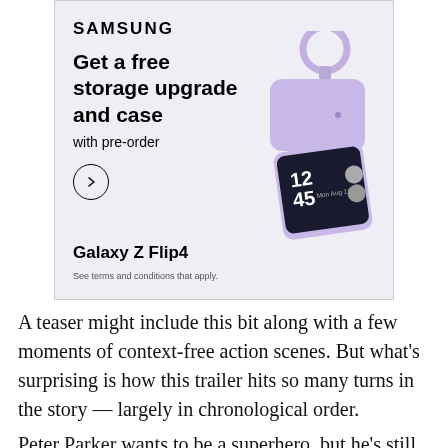[Figure (advertisement): Samsung advertisement for Galaxy Z Flip4. Light purple background. Shows Samsung logo, headline 'Get a free storage upgrade and case with pre-order', a circular arrow button, product name 'Galaxy Z Flip4', fine print 'See terms and conditions that apply.', and an image of a lavender Galaxy Z Flip4 phone folded partially open with a ring case attachment.]
A teaser might include this bit along with a few moments of context-free action scenes. But what's surprising is how this trailer hits so many turns in the story — largely in chronological order.
Peter Parker wants to be a superhero, but he's still